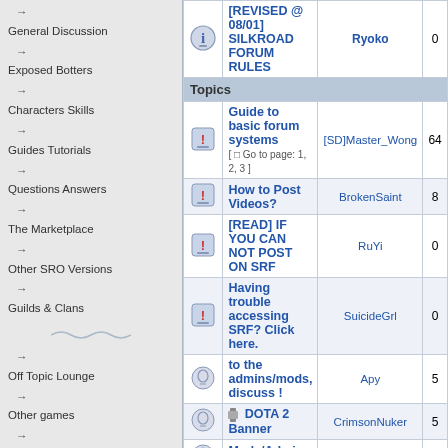→ General Discussion
→ Exposed Botters
→ Characters Skills
→ Guides Tutorials
→ Questions Answers
→ The Marketplace
→ Other SRO Versions
→ Guilds & Clans
→ Off Topic Lounge
→ Other games
→ Artists Corner
→ Sig requests
→ SRF TimeLine
Affiliates
[Figure (screenshot): TheHelper.net Tech Support affiliate banner]
[Figure (screenshot): WarCraft Tutorials affiliate banner]
[Figure (screenshot): Affordable IT solutions affiliate banner]
|  | Topic | Author | Replies |
| --- | --- | --- | --- |
| [icon] | [REVISED @ 08/01] SILKROAD FORUM RULES | Ryoko | 0 |
| Topics |  |  |  |
| [icon] | Guide to basic forum systems [ Go to page: 1, 2, 3 ] | [SD]Master_Wong | 64 |
| [icon] | How to Post Videos? | BrokenSaint | 8 |
| [icon] | [READ] IF YOU CAN NOT POST ON SRF | RuYi | 0 |
| [icon] | Having trouble accessing SRF? Click here. | SuicideGrl | 0 |
| [icon] | to the admins/mods, discuss ! | Apy | 5 |
| [icon] | DOTA 2 Banner | CrimsonNuker | 5 |
| [icon] | Mods/Admin attention | [SD]Master_Wong | 3 |